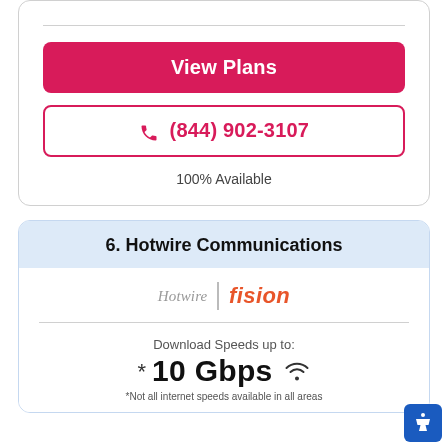View Plans
📞 (844) 902-3107
100% Available
6. Hotwire Communications
[Figure (logo): Hotwire | fision logo]
Download Speeds up to:
*10 Gbps
*Not all internet speeds available in all areas